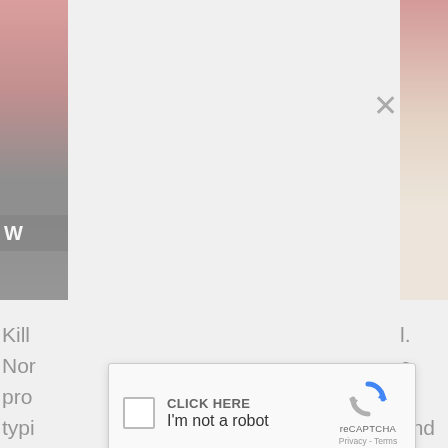[Figure (screenshot): Left image strip showing partial photo with red/dark tones and white 'W' label overlay]
[Figure (screenshot): Right image strip showing partial photo with red and cream/beige tones]
Kill
Nor
pro
typi
spr
box
hav
Vac
ma
at r
spr
voi
see
haz
who
dire
onl
l.
e
und
e.
ive
od
!
ons
he
ot
[Figure (screenshot): reCAPTCHA widget modal with close button (×). Contains checkbox, 'CLICK HERE' label, 'I'm not a robot' text, reCAPTCHA logo, and Privacy - Terms link.]